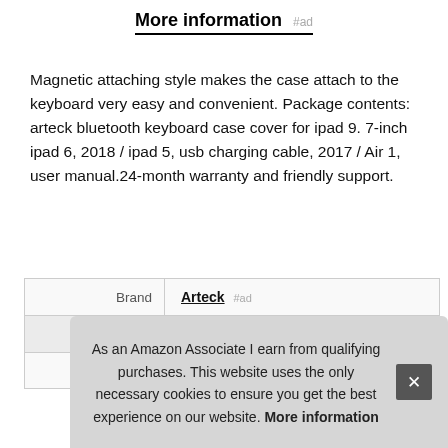More information #ad
Magnetic attaching style makes the case attach to the keyboard very easy and convenient. Package contents: arteck bluetooth keyboard case cover for ipad 9. 7-inch ipad 6, 2018 / ipad 5, usb charging cable, 2017 / Air 1, user manual.24-month warranty and friendly support.
| Brand | Arteck #ad |
| Manufacturer | Arteck #ad |
| P... |  |
As an Amazon Associate I earn from qualifying purchases. This website uses the only necessary cookies to ensure you get the best experience on our website. More information